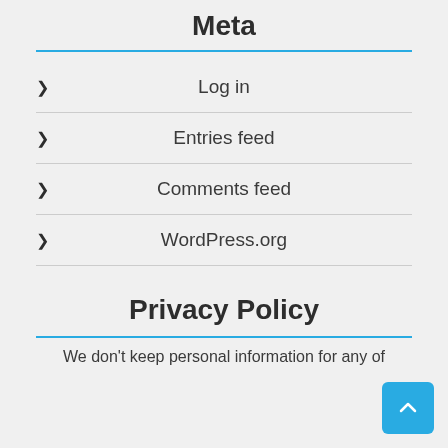Meta
Log in
Entries feed
Comments feed
WordPress.org
Privacy Policy
We don't keep personal information for any of